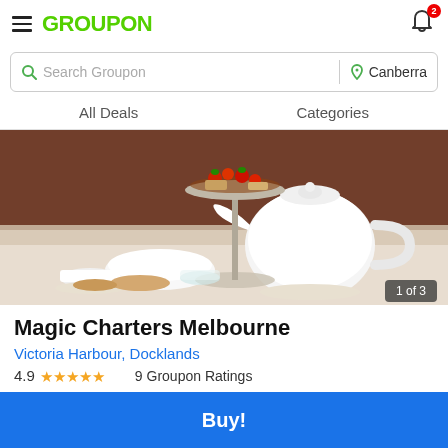GROUPON — notifications: 2
Search Groupon | Canberra
All Deals   Categories
[Figure (photo): Afternoon tea spread with white teapot, tiered cake stand with fruits and pastries, white bowls and cups on a table. Image counter shows '1 of 3'.]
Magic Charters Melbourne
Victoria Harbour, Docklands
4.9 ★★★★★ 9 Groupon Ratings
Buy!